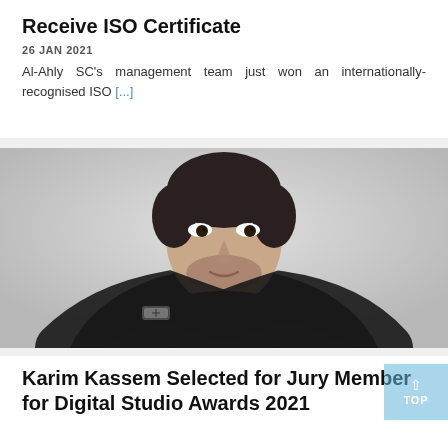Receive ISO Certificate
26 JAN 2021
Al-Ahly SC’s management team just won an internationally-recognised ISO [...]
[Figure (photo): Black and white portrait photo of a man with stubble, wearing a dark turtleneck sweater and a watch, with arms crossed]
Karim Kassem Selected for Jury Member for Digital Studio Awards 2021